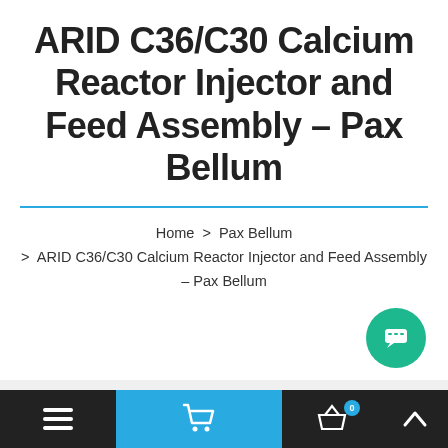ARID C36/C30 Calcium Reactor Injector and Feed Assembly - Pax Bellum
Home > Pax Bellum > ARID C36/C30 Calcium Reactor Injector and Feed Assembly - Pax Bellum
[Figure (other): Green circular chat button with speech bubble icon]
[Figure (other): Grey background area with white product card visible at bottom]
Navigation bar with menu, cart, basket (0), and up arrow buttons